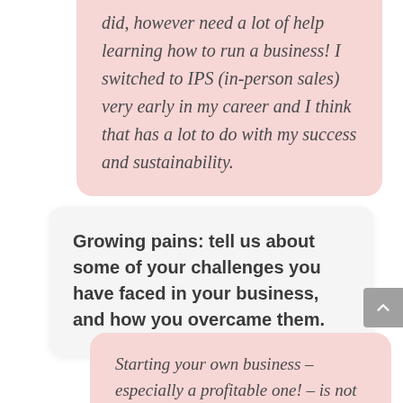did, however need a lot of help learning how to run a business! I switched to IPS (in-person sales) very early in my career and I think that has a lot to do with my success and sustainability.
Growing pains: tell us about some of your challenges you have faced in your business, and how you overcame them.
Starting your own business – especially a profitable one! – is not easy. I think I ran into the same